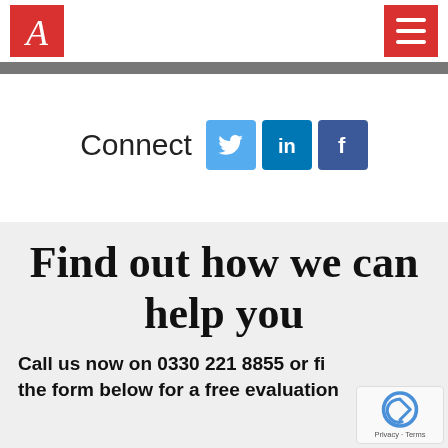[Figure (logo): Red square logo with stylized italic letter A in white, representing the company brand]
[Figure (other): Red hamburger menu button with three white horizontal lines]
[Figure (other): Gray horizontal separator bar]
Connect
[Figure (other): Social media icons: Twitter (blue bird), LinkedIn (blue 'in'), Facebook (dark blue 'f')]
Find out how we can help you
Call us now on 0330 221 8855 or fi... the form below for a free evaluation